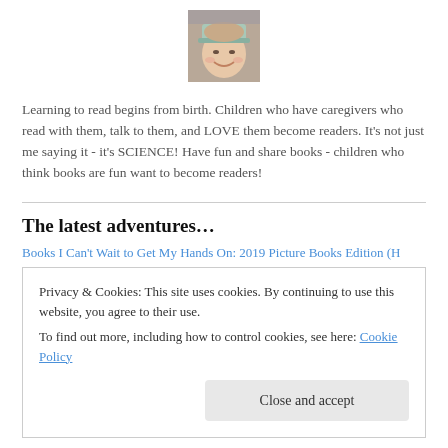[Figure (photo): A person wearing a paper hat, smiling, profile/author photo]
Learning to read begins from birth. Children who have caregivers who read with them, talk to them, and LOVE them become readers. It's not just me saying it - it's SCIENCE! Have fun and share books - children who think books are fun want to become readers!
The latest adventures…
Books I Can't Wait to Get My Hands On: 2019 Picture Books Edition (H
Privacy & Cookies: This site uses cookies. By continuing to use this website, you agree to their use.
To find out more, including how to control cookies, see here: Cookie Policy